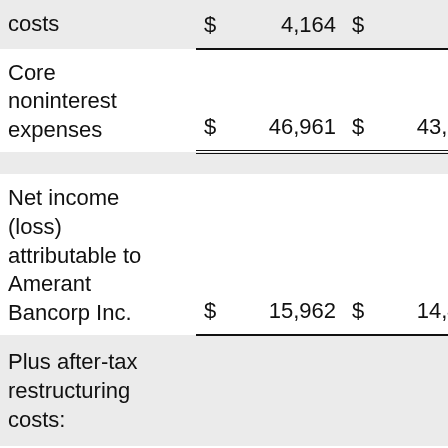| costs | $ | 4,164 | $ | 240 | $ |
| Core noninterest expenses | $ | 46,961 | $ | 43,385 | $ |
| Net income (loss) attributable to Amerant Bancorp Inc. | $ | 15,962 | $ | 14,459 | $ |
| Plus after-tax restructuring costs: |  |  |  |  |  |
| Restructuring costs before |  |  |  |  |  |